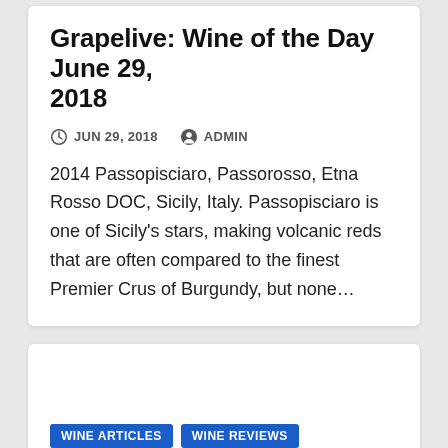Grapelive: Wine of the Day June 29, 2018
JUN 29, 2018   ADMIN
2014 Passopisciaro, Passorosso, Etna Rosso DOC, Sicily, Italy. Passopisciaro is one of Sicily's stars, making volcanic reds that are often compared to the finest Premier Crus of Burgundy, but none…
WINE ARTICLES   WINE REVIEWS
Grapelive: Wine of the Day June 28, 2018